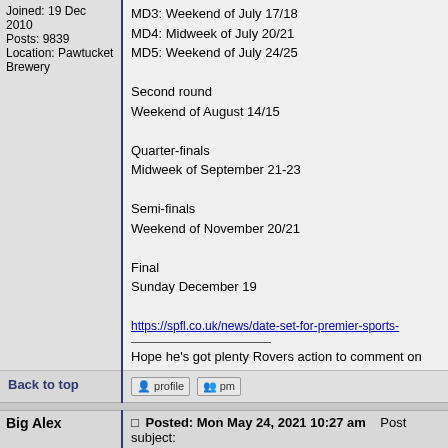Joined: 19 Dec 2010
Posts: 9839
Location: Pawtucket Brewery
MD3: Weekend of July 17/18
MD4: Midweek of July 20/21
MD5: Weekend of July 24/25

Second round
Weekend of August 14/15

Quarter-finals
Midweek of September 21-23

Semi-finals
Weekend of November 20/21

Final
Sunday December 19

https://spfl.co.uk/news/date-set-for-premier-sports-

Hope he's got plenty Rovers action to comment on
Back to top
profile  pm
Big Alex
Posted: Mon May 24, 2021 10:27 am    Post subject:
Joined: 12 Jul 2008
Posts: 485
Excuse the ignorance (ie mine), what does MD1, M